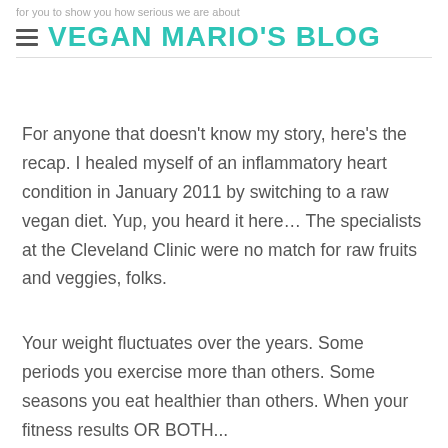for you to show you how serious we are about
VEGAN MARIO'S BLOG
For anyone that doesn't know my story, here's the recap. I healed myself of an inflammatory heart condition in January 2011 by switching to a raw vegan diet. Yup, you heard it here… The specialists at the Cleveland Clinic were no match for raw fruits and veggies, folks.
Your weight fluctuates over the years. Some periods you exercise more than others. Some seasons you eat healthier than others. When your fitness results OR BOTH...